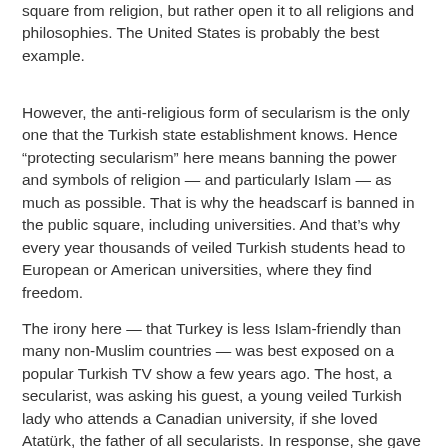square from religion, but rather open it to all religions and philosophies. The United States is probably the best example.
However, the anti-religious form of secularism is the only one that the Turkish state establishment knows. Hence “protecting secularism” here means banning the power and symbols of religion — and particularly Islam — as much as possible. That is why the headscarf is banned in the public square, including universities. And that’s why every year thousands of veiled Turkish students head to European or American universities, where they find freedom.
The irony here — that Turkey is less Islam-friendly than many non-Muslim countries — was best exposed on a popular Turkish TV show a few years ago. The host, a secularist, was asking his guest, a young veiled Turkish lady who attends a Canadian university, if she loved Atatürk, the father of all secularists. In response, she gave a shocking “no.” When the host, annoyed, said, “but it was Atatürk who saved us from being a British colony,” the answer he received was even more shocking: “But I would be free in